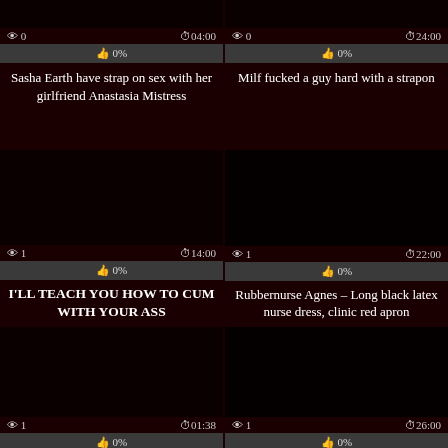👁 0  🕐04:00  👍 0%  Sasha Earth have strap on sex with her girlfriend Anastasia Mistress
👁 0  🕐24:00  👍 0%  Milf fucked a guy hard with a strapon
👁 1  🕐14:00  👍 0%  I'LL TEACH YOU HOW TO CUM WITH YOUR ASS
👁 1  🕐22:00  👍 0%  Rubbernurse Agnes – Long black latex nurse dress, clinic red apron
👁 1  🕐01:38
👁 1  🕐26:00